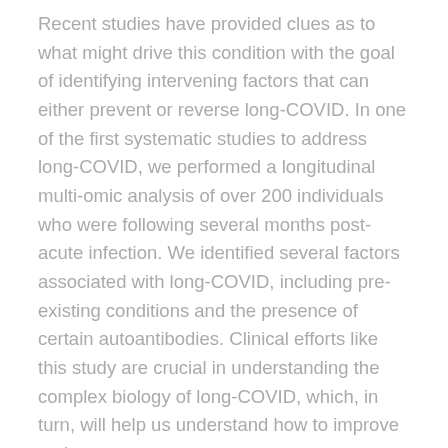Recent studies have provided clues as to what might drive this condition with the goal of identifying intervening factors that can either prevent or reverse long-COVID. In one of the first systematic studies to address long-COVID, we performed a longitudinal multi-omic analysis of over 200 individuals who were following several months post-acute infection. We identified several factors associated with long-COVID, including pre-existing conditions and the presence of certain autoantibodies. Clinical efforts like this study are crucial in understanding the complex biology of long-COVID, which, in turn, will help us understand how to improve patient outcomes.
Results roundup: